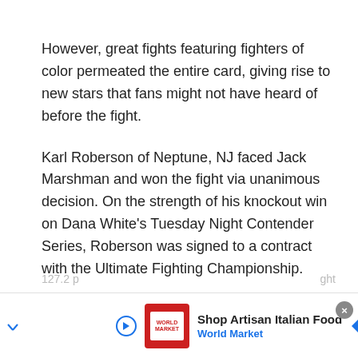However, great fights featuring fighters of color permeated the entire card, giving rise to new stars that fans might not have heard of before the fight.
Karl Roberson of Neptune, NJ faced Jack Marshman and won the fight via unanimous decision. On the strength of his knockout win on Dana White's Tuesday Night Contender Series, Roberson was signed to a contract with the Ultimate Fighting Championship.
Sijara Eubanks, a women's flyweight that is #4 in official UFC women's flyweight rankings, defeated Roxanne Modafferi via unanimous decision. At the weigh-ins, Eubanks weight at 127.2 p[ounds, which was over the flyweight limit o[f wh
[Figure (other): Advertisement banner for World Market Shop Artisan Italian Food with logo, play button, navigation arrow icon, and close button]